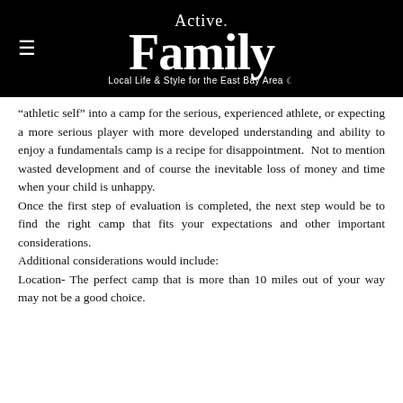Active Family – Local Life & Style for the East Bay Area
“athletic self” into a camp for the serious, experienced athlete, or expecting a more serious player with more developed understanding and ability to enjoy a fundamentals camp is a recipe for disappointment.  Not to mention wasted development and of course the inevitable loss of money and time when your child is unhappy.
Once the first step of evaluation is completed, the next step would be to find the right camp that fits your expectations and other important considerations.
Additional considerations would include:
Location- The perfect camp that is more than 10 miles out of your way may not be a good choice.